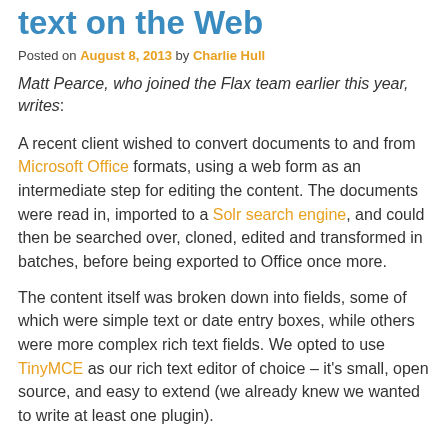text on the Web
Posted on August 8, 2013 by Charlie Hull
Matt Pearce, who joined the Flax team earlier this year, writes:
A recent client wished to convert documents to and from Microsoft Office formats, using a web form as an intermediate step for editing the content. The documents were read in, imported to a Solr search engine, and could then be searched over, cloned, edited and transformed in batches, before being exported to Office once more.
The content itself was broken down into fields, some of which were simple text or date entry boxes, while others were more complex rich text fields. We opted to use TinyMCE as our rich text editor of choice – it's small, open source, and easy to extend (we already knew we wanted to write at least one plugin).